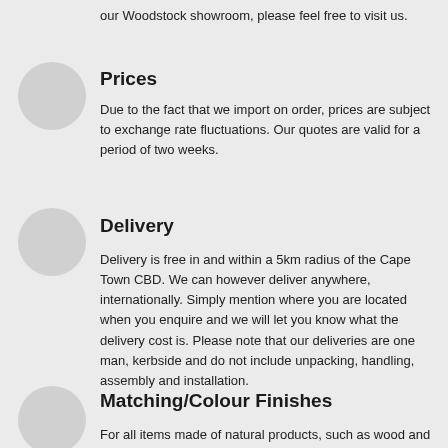our Woodstock showroom, please feel free to visit us.
Prices
Due to the fact that we import on order, prices are subject to exchange rate fluctuations. Our quotes are valid for a period of two weeks.
Delivery
Delivery is free in and within a 5km radius of the Cape Town CBD. We can however deliver anywhere, internationally. Simply mention where you are located when you enquire and we will let you know what the delivery cost is. Please note that our deliveries are one man, kerbside and do not include unpacking, handling, assembly and installation.
Matching/Colour Finishes
For all items made of natural products, such as wood and stone, it is not possible to guarantee items will have the same colour and texture finish, it is a natural product and